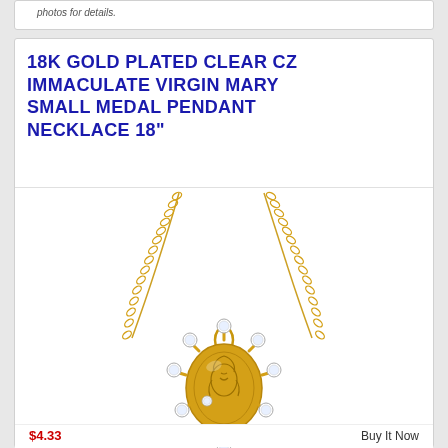photos for details.
18K GOLD PLATED CLEAR CZ IMMACULATE VIRGIN MARY SMALL MEDAL PENDANT NECKLACE 18"
[Figure (photo): Gold plated Virgin Mary pendant necklace with clear CZ stones arranged around an oval medal, hanging from a gold chain on a white background]